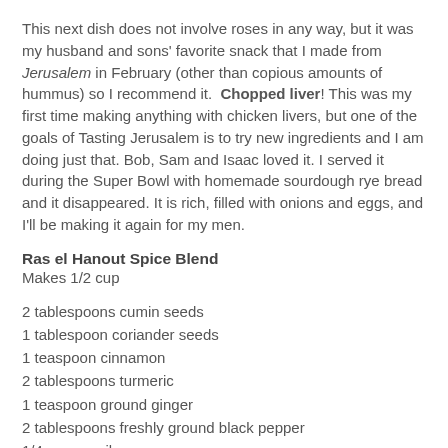This next dish does not involve roses in any way, but it was my husband and sons' favorite snack that I made from Jerusalem in February (other than copious amounts of hummus) so I recommend it. Chopped liver! This was my first time making anything with chicken livers, but one of the goals of Tasting Jerusalem is to try new ingredients and I am doing just that. Bob, Sam and Isaac loved it. I served it during the Super Bowl with homemade sourdough rye bread and it disappeared. It is rich, filled with onions and eggs, and I'll be making it again for my men.
Ras el Hanout Spice Blend
Makes 1/2 cup
2 tablespoons cumin seeds
1 tablespoon coriander seeds
1 teaspoon cinnamon
2 tablespoons turmeric
1 teaspoon ground ginger
2 tablespoons freshly ground black pepper
1/4 cup paprika